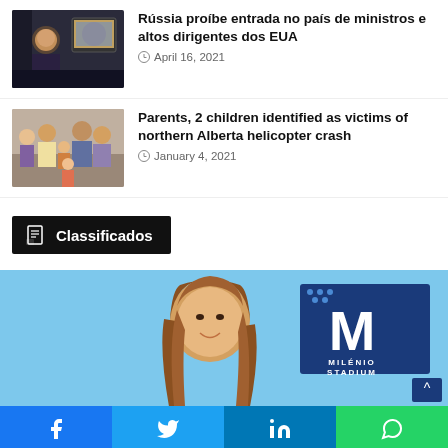[Figure (photo): Photo of Putin watching a screen]
Rússia proíbe entrada no país de ministros e altos dirigentes dos EUA
April 16, 2021
[Figure (photo): Family photo with parents and children]
Parents, 2 children identified as victims of northern Alberta helicopter crash
January 4, 2021
Classificados
[Figure (photo): Milénio Stadium advertisement banner with smiling woman and logo]
Facebook Twitter LinkedIn WhatsApp social share buttons